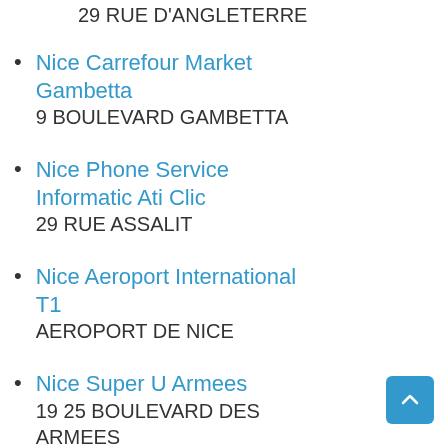29 RUE D'ANGLETERRE
Nice Carrefour Market Gambetta
9 BOULEVARD GAMBETTA
Nice Phone Service Informatic Ati Clic
29 RUE ASSALIT
Nice Aeroport International T1
AEROPORT DE NICE
Nice Super U Armees
19 25 BOULEVARD DES ARMEES